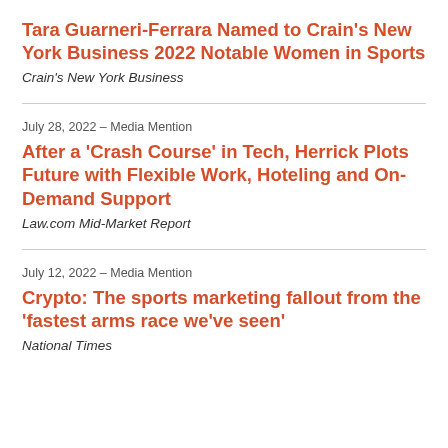Tara Guarneri-Ferrara Named to Crain's New York Business 2022 Notable Women in Sports
Crain's New York Business
July 28, 2022 – Media Mention
After a 'Crash Course' in Tech, Herrick Plots Future with Flexible Work, Hoteling and On-Demand Support
Law.com Mid-Market Report
July 12, 2022 – Media Mention
Crypto: The sports marketing fallout from the 'fastest arms race we've seen'
National Times